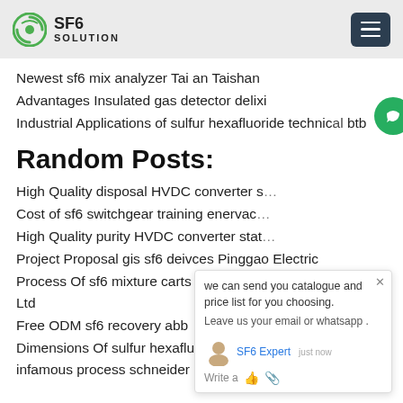SF6 SOLUTION
Newest sf6 mix analyzer Tai an Taishan
Advantages Insulated gas detector delixi
Industrial Applications of sulfur hexafluoride technical btb
Random Posts:
High Quality disposal HVDC converter s...
Cost of sf6 switchgear training enervac
High Quality purity HVDC converter stat...
Project Proposal gis sf6 deivces Pinggao Electric
Process Of sf6 mixture carts Henan Pinggao Electric Co Ltd
Free ODM sf6 recovery abb
Dimensions Of sulfur hexafluoride recovery Tai an Taishan infamous process schneider